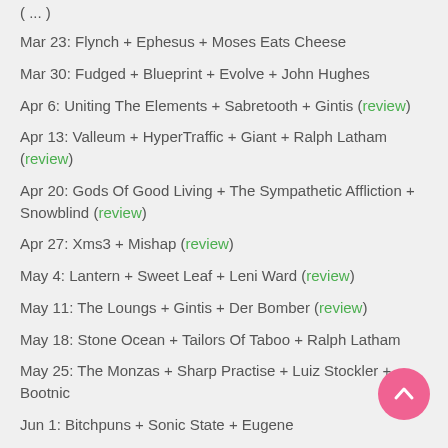Mar 23: Flynch + Ephesus + Moses Eats Cheese
Mar 30: Fudged + Blueprint + Evolve + John Hughes
Apr 6: Uniting The Elements + Sabretooth + Gintis (review)
Apr 13: Valleum + HyperTraffic + Giant + Ralph Latham (review)
Apr 20: Gods Of Good Living + The Sympathetic Affliction + Snowblind (review)
Apr 27: Xms3 + Mishap (review)
May 4: Lantern + Sweet Leaf + Leni Ward (review)
May 11: The Loungs + Gintis + Der Bomber (review)
May 18: Stone Ocean + Tailors Of Taboo + Ralph Latham
May 25: The Monzas + Sharp Practise + Luiz Stockler + Bootnic
Jun 1: Bitchpuns + Sonic State + Eugene